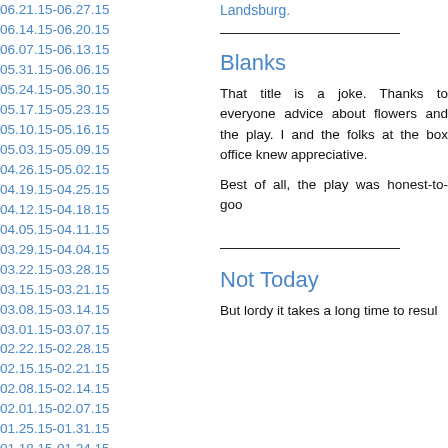06.21.15-06.27.15
06.14.15-06.20.15
06.07.15-06.13.15
05.31.15-06.06.15
05.24.15-05.30.15
05.17.15-05.23.15
05.10.15-05.16.15
05.03.15-05.09.15
04.26.15-05.02.15
04.19.15-04.25.15
04.12.15-04.18.15
04.05.15-04.11.15
03.29.15-04.04.15
03.22.15-03.28.15
03.15.15-03.21.15
03.08.15-03.14.15
03.01.15-03.07.15
02.22.15-02.28.15
02.15.15-02.21.15
02.08.15-02.14.15
02.01.15-02.07.15
01.25.15-01.31.15
01.18.15-01.24.15
01.11.15-01.17.15
01.04.15-01.10.15
12.28.14-01.03.15
12.21.14-12.27.14
12.14.14-12.20.14
12.07.14-12.13.14
11.30.14-12.06.14
11.23.14-11.29.14
11.16.14-11.22.14
11.09.14-11.15.14
Landsburg.
Blanks
That title is a joke. Thanks to everyone advice about flowers and the play. I and the folks at the box office knew appreciative.
Best of all, the play was honest-to-goo
Not Today
But lordy it takes a long time to resul